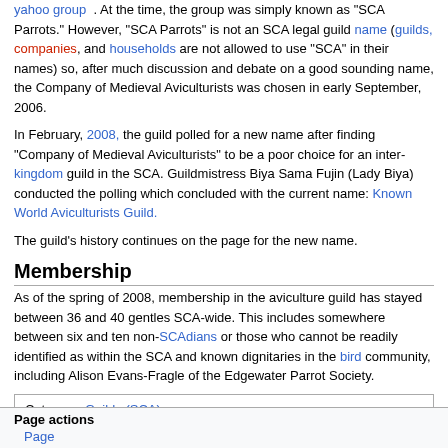yahoo group . At the time, the group was simply known as "SCA Parrots." However, "SCA Parrots" is not an SCA legal guild name (guilds, companies, and households are not allowed to use "SCA" in their names) so, after much discussion and debate on a good sounding name, the Company of Medieval Aviculturists was chosen in early September, 2006.
In February, 2008, the guild polled for a new name after finding "Company of Medieval Aviculturists" to be a poor choice for an inter-kingdom guild in the SCA. Guildmistress Biya Sama Fujin (Lady Biya) conducted the polling which concluded with the current name: Known World Aviculturists Guild.
The guild’s history continues on the page for the new name.
Membership
As of the spring of 2008, membership in the aviculture guild has stayed between 36 and 40 gentles SCA-wide. This includes somewhere between six and ten non-SCAdians or those who cannot be readily identified as within the SCA and known dignitaries in the bird community, including Alison Evans-Fragle of the Edgewater Parrot Society.
Category:  Guilds (SCA)
Page actions
Page